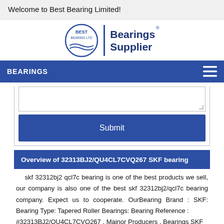Welcome to Best Bearing Limited!
[Figure (logo): Best Bearing Ltd logo with circular emblem and 'Bearings Supplier' text in dark blue]
BEARINGS
Submit
Overview of 32313BJ2/QU4CL7CVQ267 SKF bearing
skf 32312bj2 qcl7c bearing is one of the best products we sell, our company is also one of the best skf 32312bj2/qcl7c bearing company. Expect us to cooperate. OurBearing Brand : SKF: Bearing Type: Tapered Roller Bearings: Bearing Reference : #32313BJ2/QU4CL7CVQ267 . Mainor Producers . Bearings SKF